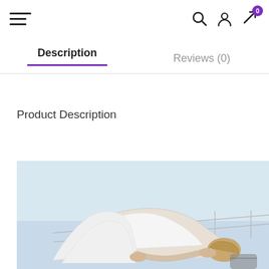Navigation bar with hamburger menu, search, user, and cart icons (0 items)
Description
Reviews (0)
Product Description
[Figure (photo): Woman in white athletic wear performing a yoga bridge/wheel pose on a rooftop or elevated platform with a light blue sky background]